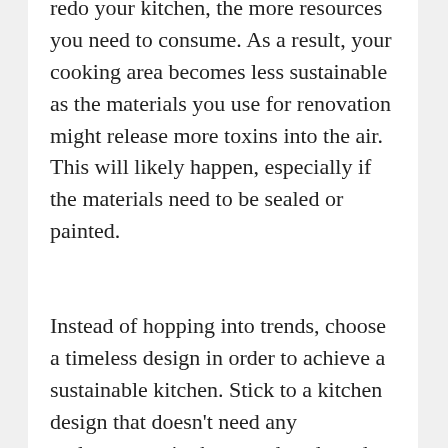redo your kitchen, the more resources you need to consume. As a result, your cooking area becomes less sustainable as the materials you use for renovation might release more toxins into the air. This will likely happen, especially if the materials need to be sealed or painted.
Instead of hopping into trends, choose a timeless design in order to achieve a sustainable kitchen. Stick to a kitchen design that doesn't need any replacements in the next decade and remains accessible for your family. You need to make sure that the kitchen you're building today will remain functional, aesthetic, and comfortable in the next ten